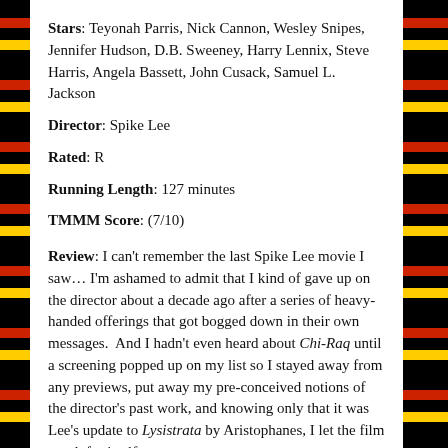Stars: Teyonah Parris, Nick Cannon, Wesley Snipes, Jennifer Hudson, D.B. Sweeney, Harry Lennix, Steve Harris, Angela Bassett, John Cusack, Samuel L. Jackson
Director: Spike Lee
Rated: R
Running Length: 127 minutes
TMMM Score: (7/10)
Review: I can't remember the last Spike Lee movie I saw… I'm ashamed to admit that I kind of gave up on the director about a decade ago after a series of heavy-handed offerings that got bogged down in their own messages.  And I hadn't even heard about Chi-Raq until a screening popped up on my list so I stayed away from any previews, put away my pre-conceived notions of the director's past work, and knowing only that it was Lee's update to Lysistrata by Aristophanes, I let the film speak for itself.